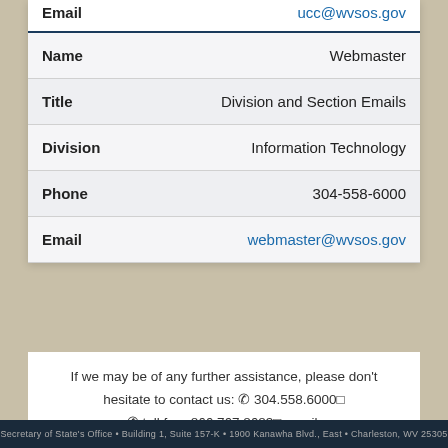| Field | Value |
| --- | --- |
| Email | ucc@wvsos.gov |
| Name | Webmaster |
| Title | Division and Section Emails |
| Division | Information Technology |
| Phone | 304-558-6000 |
| Email | webmaster@wvsos.gov |
If we may be of any further assistance, please don't hesitate to contact us: 304.558.6000 toll free 866.767.8683 email: Communications@wvsos.gov